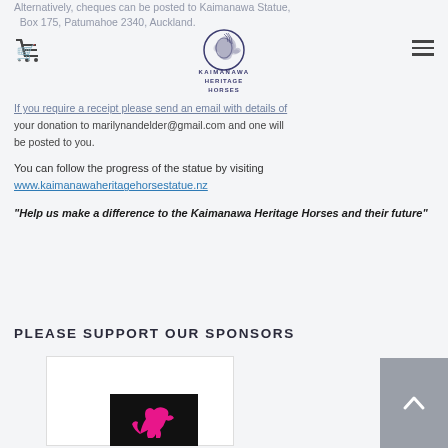Alternatively, cheques can be posted to Kaimanawa Statue, Box 175, Patumahoe 2340, Auckland.
[Figure (logo): Kaimanawa Heritage Horses logo with horse head icon and text 'KAIMANAWA HERITAGE HORSES']
If you require a receipt please send an email with details of your donation to marilynandelder@gmail.com and one will be posted to you.
You can follow the progress of the statue by visiting www.kaimanawaheritagehorsestatue.nz
“Help us make a difference to the Kaimanawa Heritage Horses and their future”
PLEASE SUPPORT OUR SPONSORS
[Figure (logo): Sponsor logo - black background with pink horse/animal silhouette]